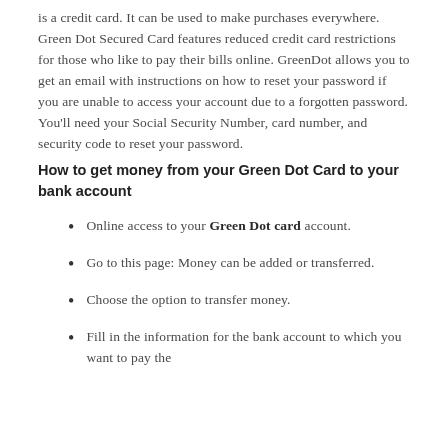is a credit card. It can be used to make purchases everywhere. Green Dot Secured Card features reduced credit card restrictions for those who like to pay their bills online. GreenDot allows you to get an email with instructions on how to reset your password if you are unable to access your account due to a forgotten password. You'll need your Social Security Number, card number, and security code to reset your password.
How to get money from your Green Dot Card to your bank account
Online access to your Green Dot card account.
Go to this page: Money can be added or transferred.
Choose the option to transfer money.
Fill in the information for the bank account to which you want to pay the